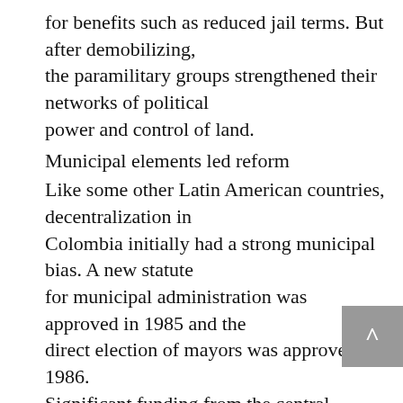for benefits such as reduced jail terms. But after demobilizing, the paramilitary groups strengthened their networks of political power and control of land.
Municipal elements led reform
Like some other Latin American countries, decentralization in Colombia initially had a strong municipal bias. A new statute for municipal administration was approved in 1985 and the direct election of mayors was approved in 1986. Significant funding from the central government fuelled the decentralization process. Juan Camilo Restrepo, the former minister of finance, said in